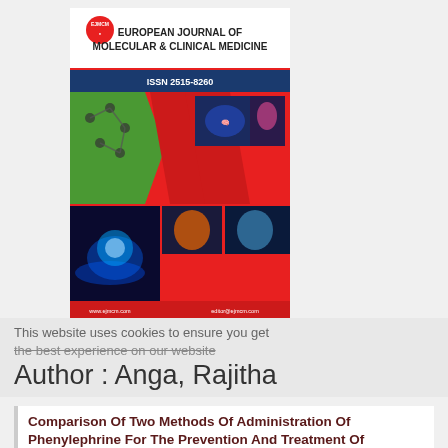[Figure (illustration): Cover of European Journal of Molecular & Clinical Medicine (EJMCM), ISSN 2515-8260. Red cover with hexagonal design featuring medical/science images including brain, molecular structures, human torso, and glowing orb held by hands. Website www.ejmcm.com shown at bottom.]
This website uses cookies to ensure you get the best experience on our website
Author : Anga, Rajitha
Comparison Of Two Methods Of Administration Of Phenylephrine For The Prevention And Treatment Of Hypotension In